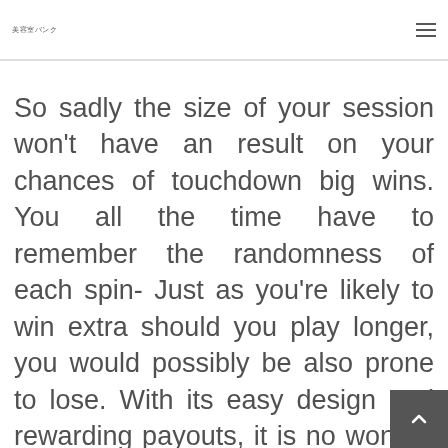美容室バンク
So sadly the size of your session won't have an result on your chances of touchdown big wins. You all the time have to remember the randomness of each spin- Just as you're likely to win extra should you play longer, you would possibly be also prone to lose. With its easy design and rewarding payouts, it is no wonder that Starburst is such a success with both new and experienced gamers. Like the present that retains o